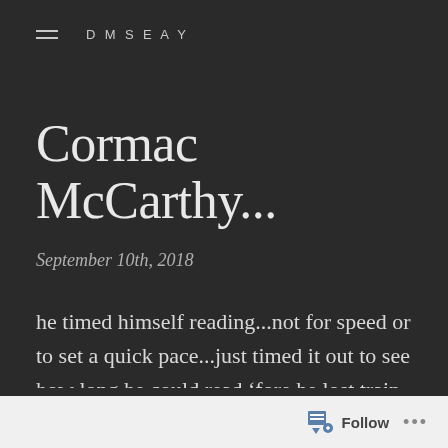DMSEAY
Cormac McCarthy...
September 10th, 2018
he timed himself reading...not for speed or to set a quick pace...just timed it out to see how long he could read ‘fore he lost train of thought...gave up interest completely...reading Cormac McCarthy’s The Orchard Keeper, page
Follow ...